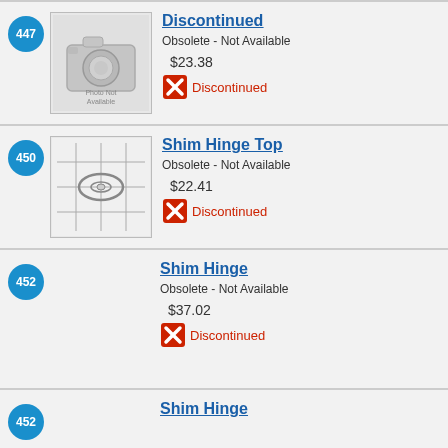447 - Discontinued. Obsolete - Not Available. $23.38. Discontinued.
450 - Shim Hinge Top. Obsolete - Not Available. $22.41. Discontinued.
452 - Shim Hinge. Obsolete - Not Available. $37.02. Discontinued.
452 - Shim Hinge (continued partial)